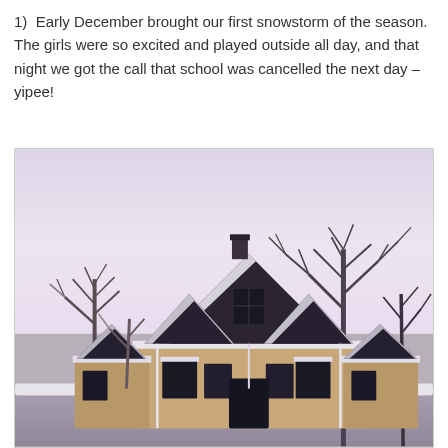1)  Early December brought our first snowstorm of the season. The girls were so excited and played outside all day, and that night we got the call that school was cancelled the next day – yipee!
[Figure (photo): Winter photo showing a snow-covered house with pointed gable roofs and bare trees against a pale lavender-pink sky. The house has brick exterior and multiple dormers with snow on the rooflines.]